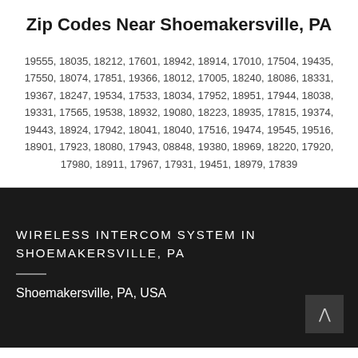Zip Codes Near Shoemakersville, PA
19555, 18035, 18212, 17601, 18942, 18914, 17010, 17504, 19435, 17550, 18074, 17851, 19366, 18012, 17005, 18240, 18086, 18331, 19367, 18247, 19534, 17533, 18034, 17952, 18951, 17944, 18038, 19331, 17565, 19538, 18932, 19080, 18223, 18935, 17815, 19374, 19443, 18924, 17942, 18041, 18040, 17516, 19474, 19545, 19516, 18901, 17923, 18080, 17943, 08848, 19380, 18969, 18220, 17920, 17980, 18911, 17967, 17931, 19451, 18979, 17839
WIRELESS INTERCOM SYSTEM IN SHOEMAKERSVILLE, PA
Shoemakersville, PA, USA